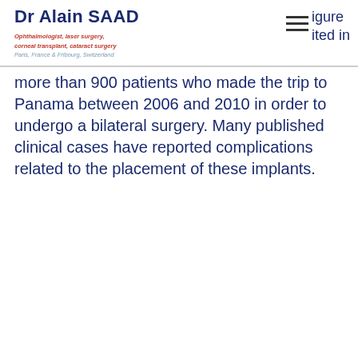Dr Alain SAAD
Ophthalmologist, laser surgery, corneal transplant, cataract surgery
Paris, France & Fribourg, Switzerland
more than 900 patients who made the trip to Panama between 2006 and 2010 in order to undergo a bilateral surgery. Many published clinical cases have reported complications related to the placement of these implants.